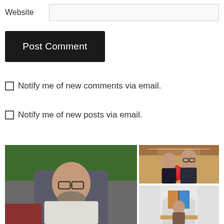Website
Post Comment
Notify me of new comments via email.
Notify me of new posts via email.
[Figure (photo): Man with beard and glasses standing outside near a vehicle with green trees in background]
[Figure (photo): Couple (woman and man with beard and glasses) standing in a church decorated for the holidays]
[Figure (photo): Person standing at an altar inside a church with stained glass windows]